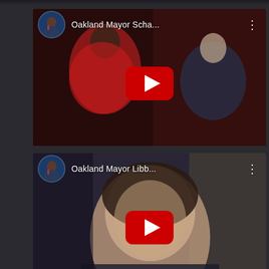[Figure (screenshot): YouTube mobile app screenshot showing three video thumbnails. Video 1: 'Oakland Mayor Scha...' with a red-shirted person and a woman visible. Video 2: 'Oakland Mayor Libb...' showing a woman's face closeup. Video 3: 'Oakland Super Bowl ...' showing what appears to be a Super Bowl related image. Each thumbnail has a YouTube play button overlay and a circular avatar of a Black male TV anchor in the header.]